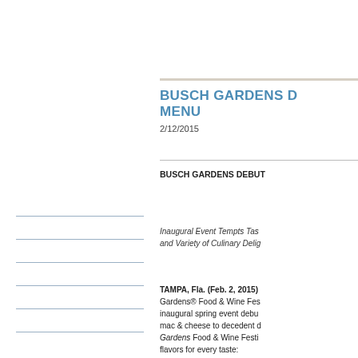BUSCH GARDENS D... MENU
2/12/2015
BUSCH GARDENS DEBUT...
Inaugural Event Tempts Tas... and Variety of Culinary Delig...
TAMPA, Fla. (Feb. 2, 2015) Gardens® Food & Wine Fes... inaugural spring event debu... mac & cheese to decedent d... Gardens Food & Wine Festi... flavors for every taste: